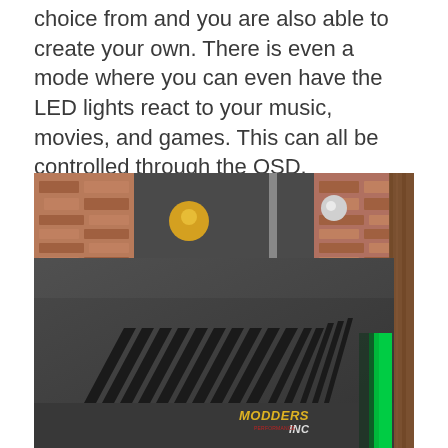choice from and you are also able to create your own. There is even a mode where you can even have the LED lights react to your music, movies, and games. This can all be controlled through the OSD.
[Figure (photo): Close-up photo of the bottom/back edge of a dark gray monitor showing diagonal ventilation slots. A MODDERS INC watermark appears in the lower right corner. The background shows a blurry room with colorful decorations and a green LED glow visible on the right side.]